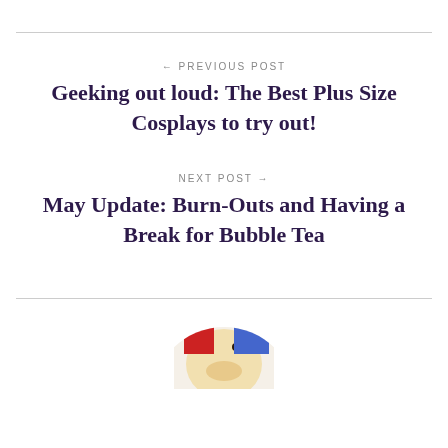← PREVIOUS POST
Geeking out loud: The Best Plus Size Cosplays to try out!
NEXT POST →
May Update: Burn-Outs and Having a Break for Bubble Tea
[Figure (photo): Circular cropped photo partially visible at bottom of page]